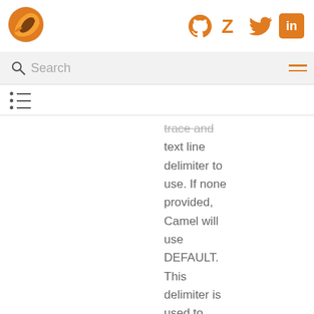[Figure (logo): Apache Camel fox/bird logo in orange and brown]
[Figure (infographic): Social media icons: GitHub, Zulip, Twitter, LinkedIn in orange]
Search
[Figure (infographic): Hamburger menu icon with three horizontal orange lines]
[Figure (infographic): Table of contents icon with bullet points and lines]
trace and text line delimiter to use. If none provided, Camel will use DEFAULT. This delimiter is used to mark the end of text